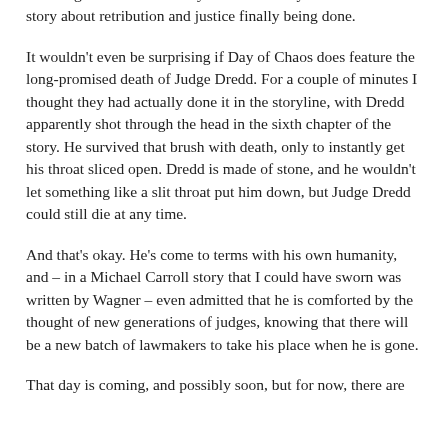stories. The actual overall point of Day of Chaos is still relatively unclear – it has something to do with the long-suffering Sovs and the daftly twisted PJ Maybe – but it is a story about retribution and justice finally being done.
It wouldn't even be surprising if Day of Chaos does feature the long-promised death of Judge Dredd. For a couple of minutes I thought they had actually done it in the storyline, with Dredd apparently shot through the head in the sixth chapter of the story. He survived that brush with death, only to instantly get his throat sliced open. Dredd is made of stone, and he wouldn't let something like a slit throat put him down, but Judge Dredd could still die at any time.
And that's okay. He's come to terms with his own humanity, and – in a Michael Carroll story that I could have sworn was written by Wagner – even admitted that he is comforted by the thought of new generations of judges, knowing that there will be a new batch of lawmakers to take his place when he is gone.
That day is coming, and possibly soon, but for now, there are